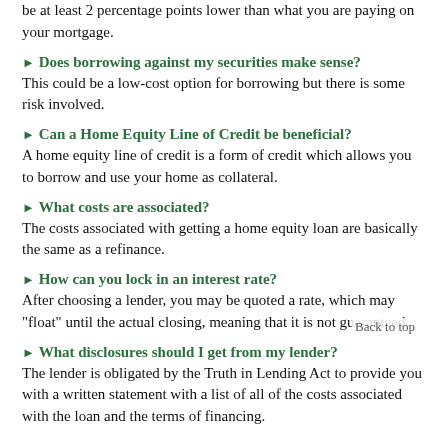be at least 2 percentage points lower than what you are paying on your mortgage.
Does borrowing against my securities make sense? This could be a low-cost option for borrowing but there is some risk involved.
Can a Home Equity Line of Credit be beneficial? A home equity line of credit is a form of credit which allows you to borrow and use your home as collateral.
What costs are associated? The costs associated with getting a home equity loan are basically the same as a refinance.
How can you lock in an interest rate? After choosing a lender, you may be quoted a rate, which may "float" until the actual closing, meaning that it is not guaranteed.
What disclosures should I get from my lender? The lender is obligated by the Truth in Lending Act to provide you with a written statement with a list of all of the costs associated with the loan and the terms of financing.